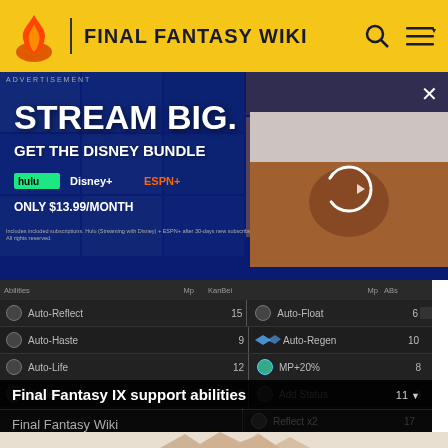FINAL FANTASY WIKI
[Figure (screenshot): Disney Bundle advertisement with 'STREAM BIG. GET THE DISNEY BUNDLE' text, Hulu, Disney+, ESPN+ logos, ONLY $13.99/MONTH, with video thumbnail overlay showing a person and loading spinner]
[Figure (screenshot): Final Fantasy IX game interface table showing support abilities: Auto-Reflect 15, Auto-Float 6, Auto-Haste 9, Auto-Regen 10, Auto-Life 12, MP+20% 8, Healer 2, Add Status 3, Reflect x2 17, with equipped ability indicator]
Final Fantasy IX support abilities
Final Fantasy Wiki
[Figure (photo): Close-up photo of spiky/horned creature or shell at bottom of page]